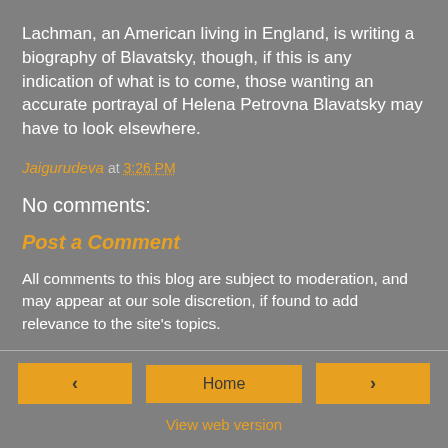Lachman, an American living in England, is writing a biography of Blavatsky, though, if this is any indication of what is to come, those wanting an accurate portrayal of Helena Petrovna Blavatsky may have to look elsewhere.
Jaigurudeva at 3:26 PM
No comments:
Post a Comment
All comments to this blog are subject to moderation, and may appear at our sole discretion, if found to add relevance to the site's topics.
< Home > View web version